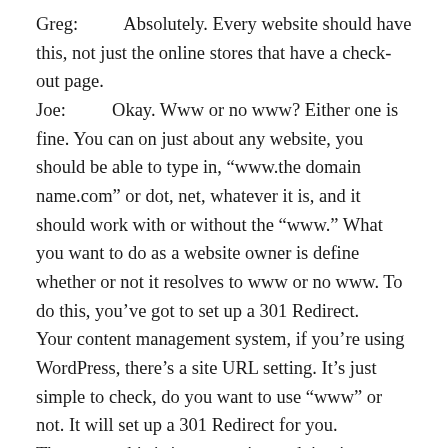Greg:          Absolutely. Every website should have this, not just the online stores that have a check-out page.
Joe:          Okay. Www or no www? Either one is fine. You can on just about any website, you should be able to type in, “www.the domain name.com” or dot, net, whatever it is, and it should work with or without the “www.” What you want to do as a website owner is define whether or not it resolves to www or no www. To do this, you’ve got to set up a 301 Redirect.
Your content management system, if you’re using WordPress, there’s a site URL setting. It’s just simple to check, do you want to use “www” or not. It will set up a 301 Redirect for you.
The reason this is important is not doing it can actually hurt your rankings, because your site essentially has two